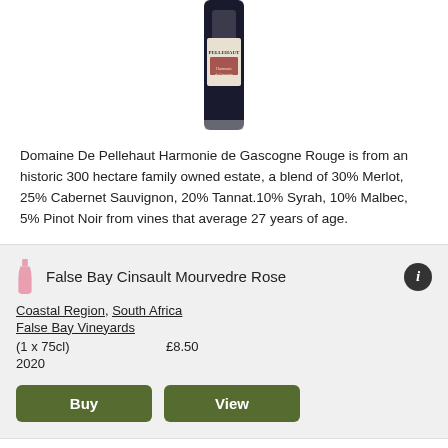[Figure (photo): Wine bottle (Domaine De Pellehaut), partially cropped, top portion visible]
Domaine De Pellehaut Harmonie de Gascogne Rouge is from an historic 300 hectare family owned estate, a blend of 30% Merlot, 25% Cabernet Sauvignon, 20% Tannat.10% Syrah, 10% Malbec, 5% Pinot Noir from vines that average 27 years of age.
False Bay Cinsault Mourvedre Rose
Coastal Region, South Africa
False Bay Vineyards
(1 x 75cl)  £8.50
2020
[Figure (photo): Wine bottle (False Bay), partially cropped, bottom portion visible at page edge]